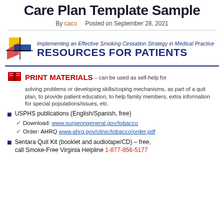Care Plan Template Sample
By caco   Posted on September 28, 2021
[Figure (logo): Colorful geometric logo with yellow square, red shape, blue rectangle]
Implementing an Effective Smoking Cessation Strategy in Medical Practice
RESOURCES FOR PATIENTS
PRINT MATERIALS – can be used as self-help for solving problems or developing skills/coping mechanisms, as part of a quit plan, to provide patient education, to help family members, extra information for special populations/issues, etc.
USPHS publications (English/Spanish, free)
Download: www.surgeongeneral.gov/tobacco
Order: AHRQ www.ahrq.gov/clinic/tobacco/order.pdf
Sentara Quit Kit (booklet and audiotape/CD) – free, call Smoke-Free Virginia Helpline 1-877-856-5177